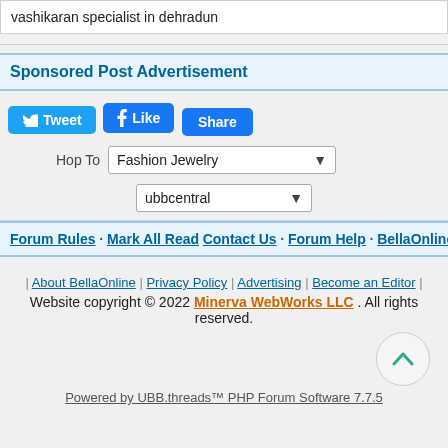vashikaran specialist in dehradun
Sponsored Post Advertisement
[Figure (screenshot): Social sharing buttons: Tweet, Like, Share]
Hop To  Fashion Jewelry
ubbcentral
Forum Rules · Mark All Read    Contact Us · Forum Help · BellaOnline
| About BellaOnline | Privacy Policy | Advertising | Become an Editor | Website copyright © 2022 Minerva WebWorks LLC . All rights reserved.
Powered by UBB.threads™ PHP Forum Software 7.7.5